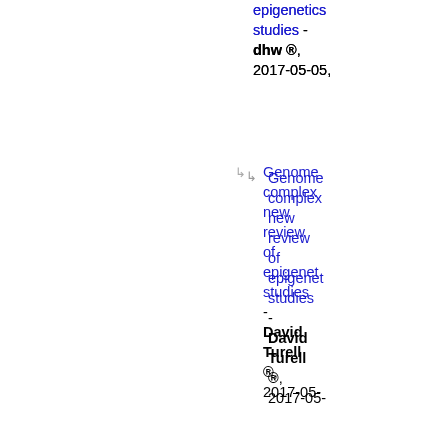epigenetics studies - dhw ®, 2017-05-05,
↳ Genome complexity new review of epigenetics studies - David Turell ®, 2017-05-
↳ Genome complexity new review of epigenetics studies